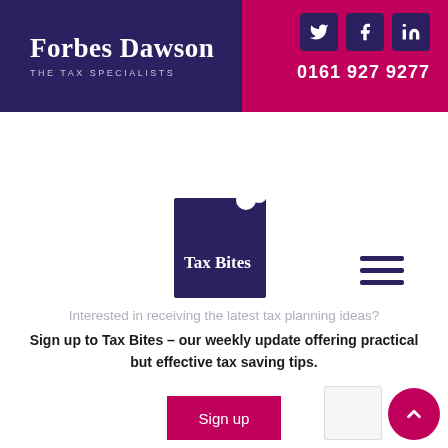[Figure (logo): Forbes Dawson – The Tax Specialists logo on dark navy background]
[Figure (infographic): Social media icons (Twitter, Facebook, LinkedIn) and phone number 0161 927 9277 on pink/magenta background]
[Figure (logo): Tax Bites logo – dark navy square with cookie bite shape in top-right corner, text 'Tax Bites' in white serif font]
Interested in receiving the latest tax planning ideas?
Sign up to Tax Bites – our weekly update offering practical but effective tax saving tips.
[Figure (other): Sign up button – magenta/pink rectangle with white 'Sign up' text]